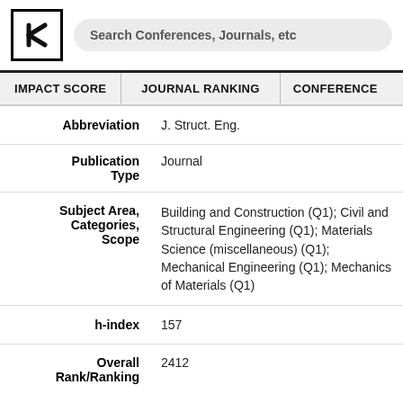[Figure (logo): Research platform logo with letter R inside a square box]
Search Conferences, Journals, etc
IMPACT SCORE   JOURNAL RANKING   CONFERENCE
| Abbreviation | J. Struct. Eng. |
| Publication Type | Journal |
| Subject Area, Categories, Scope | Building and Construction (Q1); Civil and Structural Engineering (Q1); Materials Science (miscellaneous) (Q1); Mechanical Engineering (Q1); Mechanics of Materials (Q1) |
| h-index | 157 |
| Overall Rank/Ranking | 2412 |